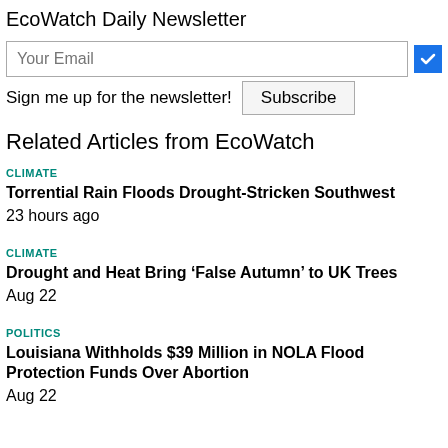EcoWatch Daily Newsletter
Your Email
Sign me up for the newsletter! Subscribe
Related Articles from EcoWatch
CLIMATE
Torrential Rain Floods Drought-Stricken Southwest
23 hours ago
CLIMATE
Drought and Heat Bring ‘False Autumn’ to UK Trees
Aug 22
POLITICS
Louisiana Withholds $39 Million in NOLA Flood Protection Funds Over Abortion
Aug 22